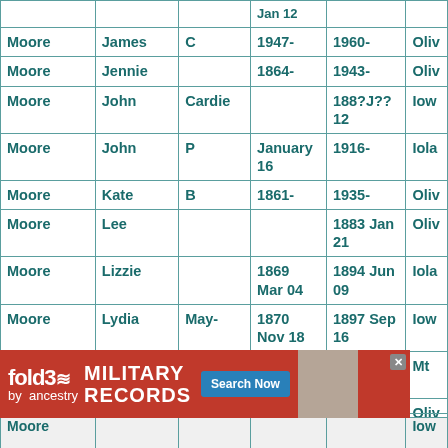| Last Name | First Name | Middle | Birth | Death | Location |
| --- | --- | --- | --- | --- | --- |
| Moore | James | C | 1947- | 1960- | Oliv |
| Moore | Jennie |  | 1864- | 1943- | Oliv |
| Moore | John | Cardie |  | 188?J??12 | Iow |
| Moore | John | P | January 16 | 1916- | Iola |
| Moore | Kate | B | 1861- | 1935- | Oliv |
| Moore | Lee |  |  | 1883 Jan 21 | Oliv |
| Moore | Lizzie |  | 1869 Mar 04 | 1894 Jun 09 | Iola |
| Moore | Lydia | May- | 1870 Nov 18 | 1897 Sep 16 | Iow |
| Moore | Maggie |  |  | 1881 Sep 07 | Mt |
| Moore | Marlene |  | 1819- | 1899- | Oliv |
| Moore | Mary | Lena | 1873 Mar 29 | 1894 Jan 13 | Iow |
| Moore |  |  |  |  | Iow |